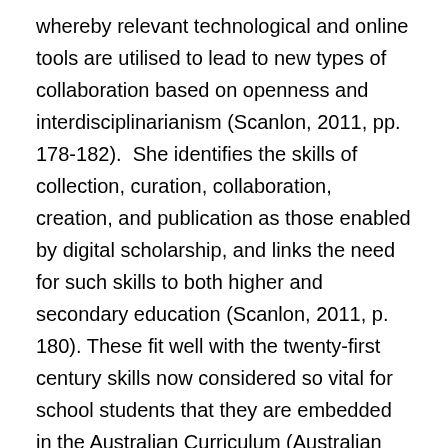whereby relevant technological and online tools are utilised to lead to new types of collaboration based on openness and interdisciplinarianism (Scanlon, 2011, pp. 178-182).  She identifies the skills of collection, curation, collaboration, creation, and publication as those enabled by digital scholarship, and links the need for such skills to both higher and secondary education (Scanlon, 2011, p. 180). These fit well with the twenty-first century skills now considered so vital for school students that they are embedded in the Australian Curriculum (Australian Curriculum, Assessment and Reporting Authority, n.d.), and promoted by the International Society for Technology in Education Standards for teaching and learning with